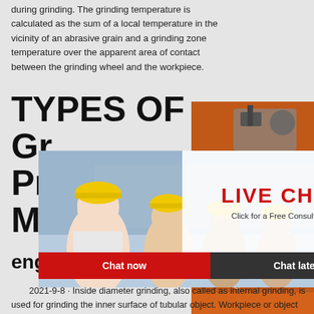during grinding. The grinding temperature is calculated as the sum of a local temperature in the vicinity of an abrasive grain and a grinding zone temperature over the apparent area of contact between the grinding wheel and the workpiece.
TYPES OF GRINDING PROCESS METHODS MECHANISMS engineering ...
[Figure (photo): Live chat overlay with workers wearing yellow hard hats, showing LIVE CHAT text in red, 'Click for a Free Consultation', with 'Chat now' and 'Chat later' buttons]
[Figure (photo): Orange sidebar with machinery/crusher equipment images, discount banner showing 'Enjoy 3% discount' and 'Click to Chat', Enquiry section, and email limingjlmofen@sina.com]
2021-9-8 · Inside diameter grinding, also called as internal grinding, is used for grinding the inner surface of tubular object. Workpiece or object will have already drilled hole and internal grinding process will be performed to finish the inner surface of workpiece with the help of smaller grinding ...